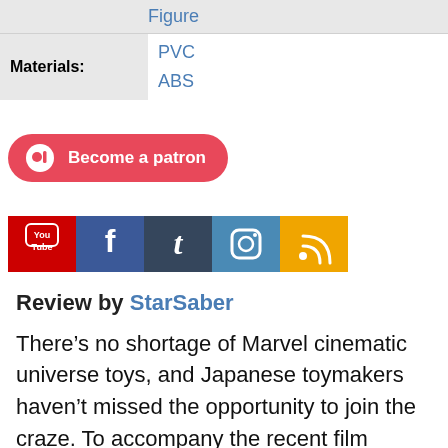| Figure |
| Materials: | PVC
ABS |
[Figure (other): Patreon 'Become a patron' button in red with Patreon logo icon]
[Figure (other): Row of social media icons: YouTube (red), Facebook (blue), Tumblr (dark blue), Instagram (blue), RSS (orange)]
Review by StarSaber
There’s no shortage of Marvel cinematic universe toys, and Japanese toymakers haven’t missed the opportunity to join the craze. To accompany the recent film Bandai made plenty of Figuarts for Captain America: Civil War, including the titular character.